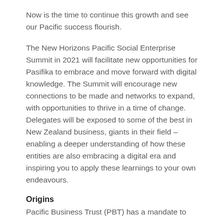Now is the time to continue this growth and see our Pacific success flourish.
The New Horizons Pacific Social Enterprise Summit in 2021 will facilitate new opportunities for Pasifika to embrace and move forward with digital knowledge. The Summit will encourage new connections to be made and networks to expand, with opportunities to thrive in a time of change. Delegates will be exposed to some of the best in New Zealand business, giants in their field – enabling a deeper understanding of how these entities are also embracing a digital era and inspiring you to apply these learnings to your own endeavours.
Origins
Pacific Business Trust (PBT) has a mandate to